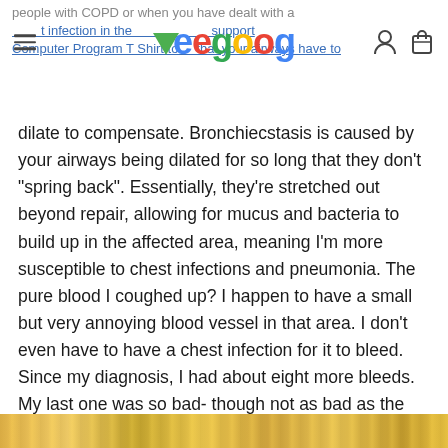people with COPD or when you have dealt with a chest infection in the past... supports Computer Program T Shirt to... that your airways have to
[Figure (logo): Teegoog logo with colorful letters and green downward arrow, hamburger menu icon on left, user and cart icons on right]
dilate to compensate. Bronchiecstasis is caused by your airways being dilated for so long that they don't "spring back". Essentially, they're stretched out beyond repair, allowing for mucus and bacteria to build up in the affected area, meaning I'm more susceptible to chest infections and pneumonia. The pure blood I coughed up? I happen to have a small but very annoying blood vessel in that area. I don't even have to have a chest infection for it to bleed. Since my diagnosis, I had about eight more bleeds. My last one was so bad- though not as bad as the second- that I was sat with an oxygen mask on, had a coughing fit and the entire mask filled with blood. They embolised the blood vessel, but there's like a 90% chance of the blood vessel just growing more channels to compensate for the embolised ones.
[Figure (photo): Partial colorful image at the bottom of the page, appears to show golden/yellow tones]